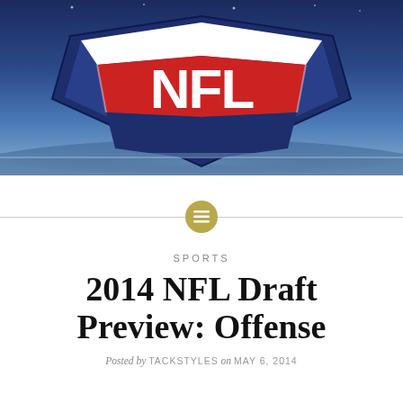[Figure (photo): Close-up photo of the NFL shield logo, showing the red NFL letters on a blue and white background, viewed from a low angle with stadium lighting.]
SPORTS
2014 NFL Draft Preview: Offense
Posted by TACKSTYLES on MAY 6, 2014